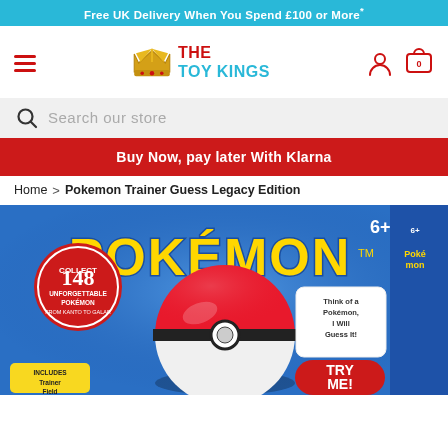Free UK Delivery When You Spend £100 or More*
[Figure (logo): The Toy Kings logo with crown icon, hamburger menu, user icon, and cart icon with 0 items]
Search our store
Buy Now, pay later With Klarna
Home > Pokemon Trainer Guess Legacy Edition
[Figure (photo): Pokemon Trainer Guess Legacy Edition game box showing a red Pokeball, Pokemon logo in yellow, '6+' age rating, 'Collect 148 unforgettable Pokemon', 'Think of a Pokemon, I Will Guess It!', 'TRY ME!' button, 'Includes Trainer Field' text]